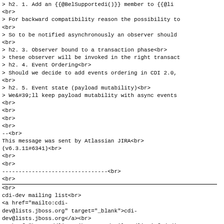&gt; h2. 1. Add an {{@BelSupportedi()}} member to {{@li
<br>
&gt; For backward compatibility reason the possibility to
<br>
&gt; So to be notified asynchronously an observer should
<br>
&gt; h2. 3. Observer bound to a transaction phase<br>
&gt; these observer will be invoked in the right transact
&gt; h2. 4. Event Ordering<br>
&gt; Should we decide to add events ordering in CDI 2.0,
<br>
&gt; h2. 5. Event state (payload mutability)<br>
&gt; We&#39;ll keep payload mutability with async events
<br>
<br>
<br>
<br>
--<br>
This message was sent by Atlassian JIRA<br>
(v6.3.11#6341)<br>
<br>
<br>
--------------------------------<br>
<br>
________________________________<br>
<br>
cdi-dev mailing list<br>
<a href="mailto:cdi-dev@lists.jboss.org" target="_blank">cdi-dev@lists.jboss.org</a><br>
<a href="https://lists.jboss.org/mailman/listinfo/cdi-dev" target="_blank">https://lists.jboss.org/mailman/lis